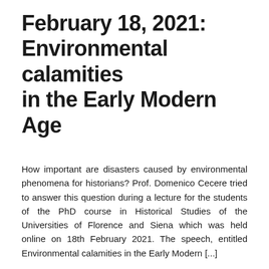February 18, 2021: Environmental calamities in the Early Modern Age
How important are disasters caused by environmental phenomena for historians? Prof. Domenico Cecere tried to answer this question during a lecture for the students of the PhD course in Historical Studies of the Universities of Florence and Siena which was held online on 18th February 2021. The speech, entitled Environmental calamities in the Early Modern [...]